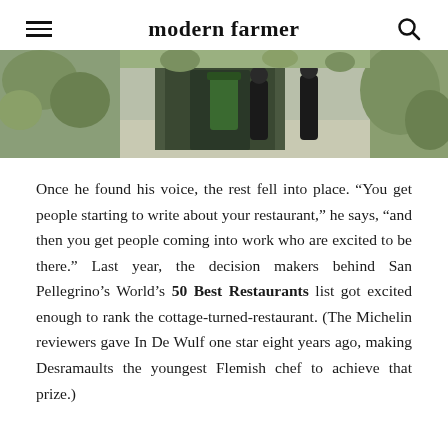modern farmer
[Figure (photo): Outdoor scene at a restaurant or farm, showing people near a doorway with green plants and gravel surroundings.]
Once he found his voice, the rest fell into place. “You get people starting to write about your restaurant,” he says, “and then you get people coming into work who are excited to be there.” Last year, the decision makers behind San Pellegrino’s World’s 50 Best Restaurants list got excited enough to rank the cottage-turned-restaurant. (The Michelin reviewers gave In De Wulf one star eight years ago, making Desramaults the youngest Flemish chef to achieve that prize.)